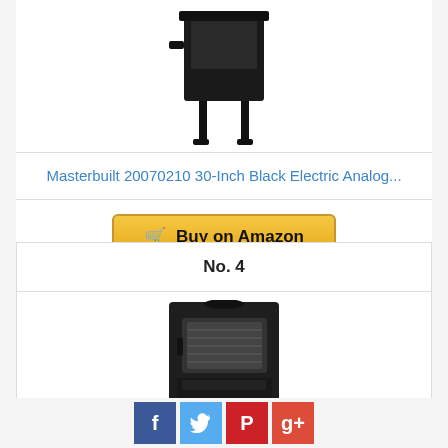[Figure (photo): Top portion of a black electric analog smoker on white background, partially cropped at top]
Masterbuilt 20070210 30-Inch Black Electric Analog...
Buy on Amazon
No. 4
[Figure (photo): Black electric smoker with glass window door, front view]
[Figure (other): Social media share buttons: Facebook, Twitter, Pinterest, Google+]